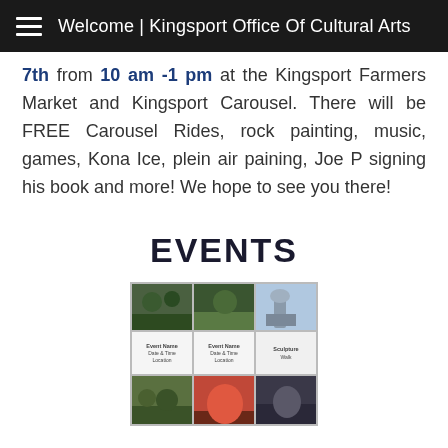Welcome | Kingsport Office Of Cultural Arts
7th from 10 am -1 pm at the Kingsport Farmers Market and Kingsport Carousel. There will be FREE Carousel Rides, rock painting, music, games, Kona Ice, plein air paining, Joe P signing his book and more! We hope to see you there!
EVENTS
[Figure (photo): A 3x3 grid of event thumbnail images and text cards for the Kingsport Office of Cultural Arts events listing.]